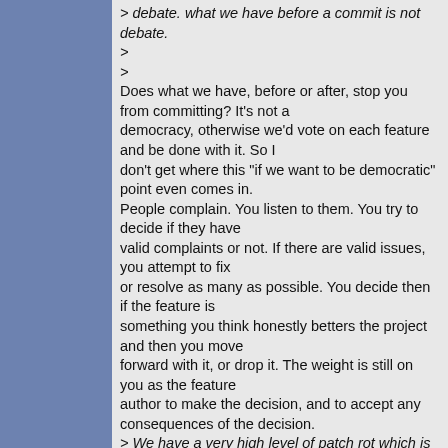> debate. what we have before a commit is not debate.
>
>
Does what we have, before or after, stop you from committing? It's not a democracy, otherwise we'd vote on each feature and be done with it. So I don't get where this "if we want to be democratic" point even comes in.
People complain. You listen to them. You try to decide if they have valid complaints or not. If there are valid issues, you attempt to fix or resolve as many as possible. You decide then if the feature is something you think honestly betters the project and then you move forward with it, or drop it. The weight is still on you as the feature author to make the decision, and to accept any consequences of the decision.
> We have a very high level of patch rot which is the same thing (some > of the time), and yes reversions are something which is almost never > done which is a very nice thing.
>
We have a high level of patch rot because people put together half-assed patches and as soon as they work for unsupported